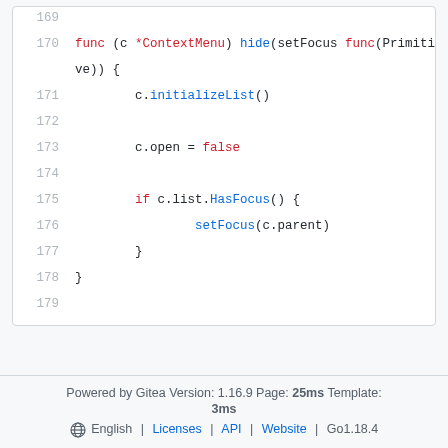[Figure (screenshot): Code viewer showing Go code lines 169-179 with syntax highlighting. Lines include func definition with *ContextMenu and hide, initializeList(), c.open = false, if c.list.HasFocus() block with setFocus(c.parent).]
Powered by Gitea Version: 1.16.9 Page: 25ms Template: 3ms | English | Licenses | API | Website | Go1.18.4